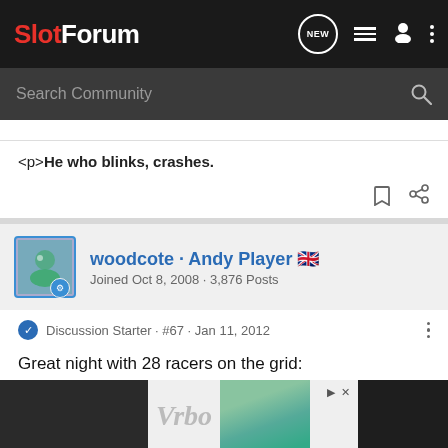SlotForum
<p>He who blinks, crashes.
woodcote · Andy Player 🇬🇧
Joined Oct 8, 2008 · 3,876 Posts
Discussion Starter · #67 · Jan 11, 2012
Great night with 28 racers on the grid:
[Figure (screenshot): Partial advertisement overlay showing Vrbo logo and vacation property photo, over a darkened image strip at the bottom of the forum post.]